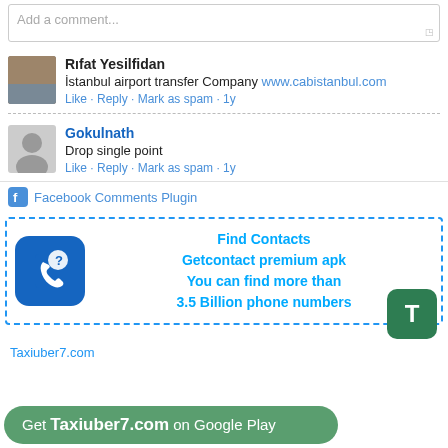Add a comment...
Rıfat Yesilfidan
İstanbul airport transfer Company www.cabistanbul.com
Like · Reply · Mark as spam · 1y
Gokulnath
Drop single point
Like · Reply · Mark as spam · 1y
Facebook Comments Plugin
[Figure (infographic): Ad box with phone/question mark icon, text: Find Contacts Getcontact premium apk You can find more than 3.5 Billion phone numbers, green T button]
Taxiuber7.com
Get Taxiuber7.com on Google Play